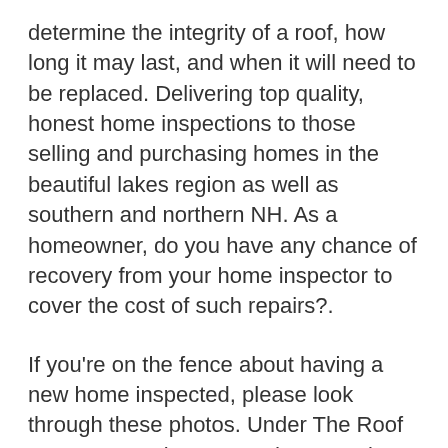determine the integrity of a roof, how long it may last, and when it will need to be replaced. Delivering top quality, honest home inspections to those selling and purchasing homes in the beautiful lakes region as well as southern and northern NH. As a homeowner, do you have any chance of recovery from your home inspector to cover the cost of such repairs?.
If you're on the fence about having a new home inspected, please look through these photos. Under The Roof Home Inspection Co. Under normal circumstances, properly installed tile roofs are virtually maintenance-free.
Service performed with honesty and integrity. What If Your Home Inspector Missed Something Huge? No indications of moisture damage were observed